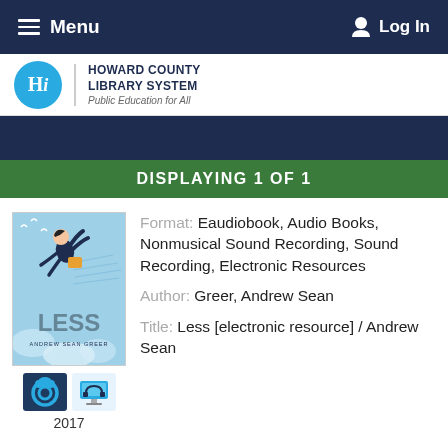≡ Menu   Log In
[Figure (logo): Howard County Library System logo — blue circle with 'Hi', text: HOWARD COUNTY LIBRARY SYSTEM, Public Education for All]
DISPLAYING 1 OF 1
[Figure (illustration): Book cover for 'Less' by Andrew Sean Greer — illustrated cover with a figure falling upside-down on a light blue background, with the title LESS and author name ANDREW SEAN GREER at the bottom. Below: two service icons (Cloudlibrary and OverDrive/audiobook icons), year 2017.]
Format: Eaudiobook, Audio Books, Nonmusical Sound Recording, Sound Recording, Electronic Resources
Author: Greer, Andrew Sean
Title: Less [electronic resource] / Andrew Sean